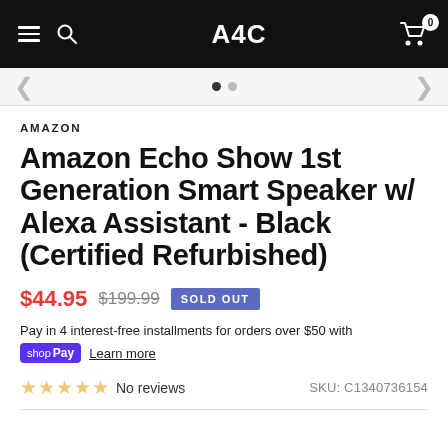A4C
[Figure (screenshot): Product image navigation bar with left arrow, two dots indicator, and right arrow]
AMAZON
Amazon Echo Show 1st Generation Smart Speaker w/ Alexa Assistant - Black (Certified Refurbished)
$44.95  $199.99  SOLD OUT
Pay in 4 interest-free installments for orders over $50 with shop Pay  Learn more
★★★★★ No reviews   SKU: C1340736154